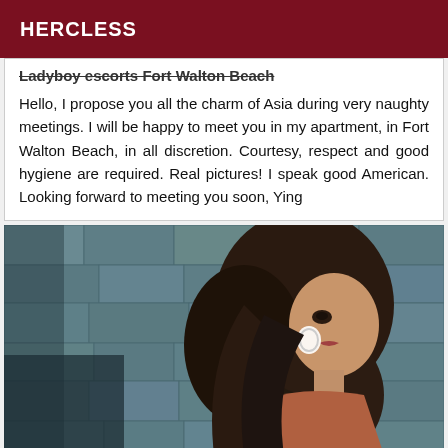HERCLESS
Ladyboy escorts Fort Walton Beach
Hello, I propose you all the charm of Asia during very naughty meetings. I will be happy to meet you in my apartment, in Fort Walton Beach, in all discretion. Courtesy, respect and good hygiene are required. Real pictures! I speak good American. Looking forward to meeting you soon, Ying
[Figure (photo): A woman with long dark hair viewed from the side, wearing hoop earrings, posed against a stone wall background.]